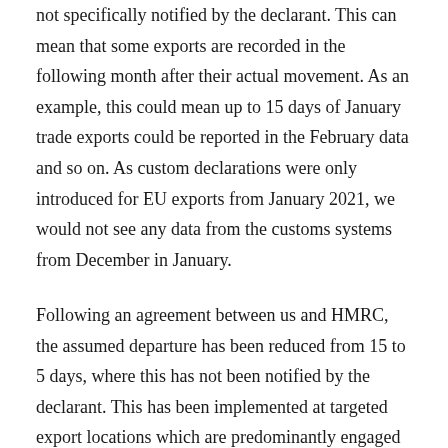not specifically notified by the declarant. This can mean that some exports are recorded in the following month after their actual movement. As an example, this could mean up to 15 days of January trade exports could be reported in the February data and so on. As custom declarations were only introduced for EU exports from January 2021, we would not see any data from the customs systems from December in January.
Following an agreement between us and HMRC, the assumed departure has been reduced from 15 to 5 days, where this has not been notified by the declarant. This has been implemented at targeted export locations which are predominantly engaged in EU trade. This enables the majority of trade to be